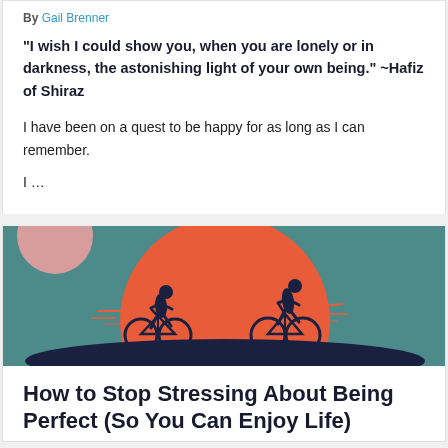By Gail Brenner
“I wish I could show you, when you are lonely or in darkness, the astonishing light of your own being.” ~Hafiz of Shiraz
I have been on a quest to be happy for as long as I can remember.
I …
[Figure (illustration): Two silhouetted figures riding bicycles on a hill, set against a large orange/red circle (sun) on a teal background. A smaller pink circle is visible in the upper left. The scene is stylized and graphic.]
How to Stop Stressing About Being Perfect (So You Can Enjoy Life)